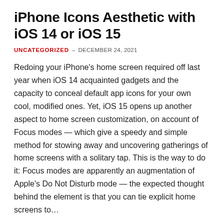iPhone Icons Aesthetic with iOS 14 or iOS 15
UNCATEGORIZED – DECEMBER 24, 2021
Redoing your iPhone's home screen required off last year when iOS 14 acquainted gadgets and the capacity to conceal default app icons for your own cool, modified ones. Yet, iOS 15 opens up another aspect to home screen customization, on account of Focus modes — which give a speedy and simple method for stowing away and uncovering gatherings of home screens with a solitary tap. This is the way to do it: Focus modes are apparently an augmentation of Apple's Do Not Disturb mode — the expected thought behind the element is that you can tie explicit home screens to...
READ MORE